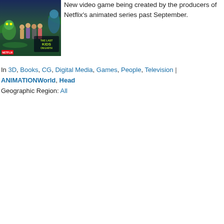[Figure (illustration): Promotional image for 'The Last Kids on Earth' Netflix animated series showing cartoon characters (kids and monsters) against a stylized background with the show's title logo visible in the lower right and Netflix badge top left.]
New video game being created by the producers of Netflix's animated series past September.
In 3D, Books, CG, Digital Media, Games, People, Television | ANIMATIONWorld, Head...
Geographic Region: All